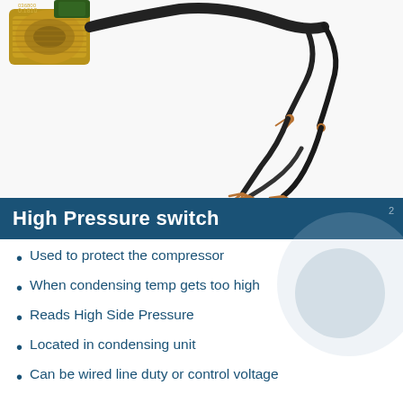[Figure (photo): Photo of a high pressure switch component: a brass threaded fitting on the left and black electrical wires with exposed copper ends on the right, against a white background.]
High Pressure switch
Used to protect the compressor
When condensing temp gets too high
Reads High Side Pressure
Located in condensing unit
Can be wired line duty or control voltage